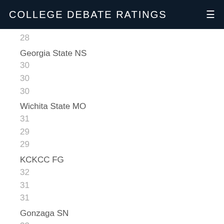COLLEGE DEBATE RATINGS
28
Georgia State NS
30
30
30
Wichita State MO
31
29
29
KCKCC FG
32
31
31
Gonzaga SN
33
33
34
Vanderbilt BM
34
36
36